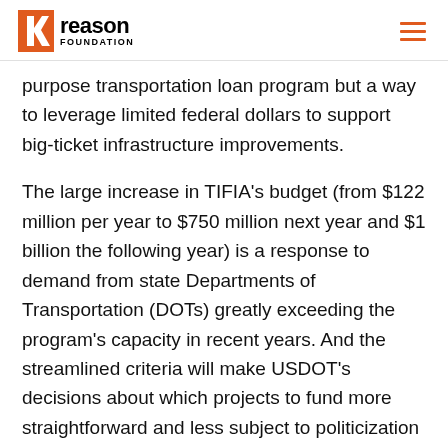Reason Foundation
purpose transportation loan program but a way to leverage limited federal dollars to support big-ticket infrastructure improvements.
The large increase in TIFIA's budget (from $122 million per year to $750 million next year and $1 billion the following year) is a response to demand from state Departments of Transportation (DOTs) greatly exceeding the program's capacity in recent years. And the streamlined criteria will make USDOT's decisions about which projects to fund more straightforward and less subject to politicization based on inherently subjective factors introduced by the Obama administration that